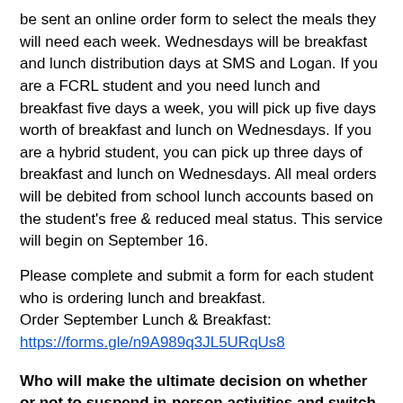be sent an online order form to select the meals they will need each week. Wednesdays will be breakfast and lunch distribution days at SMS and Logan. If you are a FCRL student and you need lunch and breakfast five days a week, you will pick up five days worth of breakfast and lunch on Wednesdays. If you are a hybrid student, you can pick up three days of breakfast and lunch on Wednesdays. All meal orders will be debited from school lunch accounts based on the student's free & reduced meal status. This service will begin on September 16.
Please complete and submit a form for each student who is ordering lunch and breakfast.
Order September Lunch & Breakfast:
https://forms.gle/n9A989q3JL5URqUs8
Who will make the ultimate decision on whether or not to suspend in-person activities and switch to remote learning?
This decision will be made jointly by the superintendent and the Shawnee County Health Department. This decision will be based on the level of community transmission; whether cases